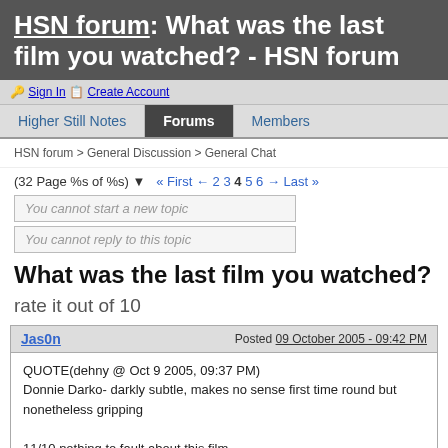HSN forum: What was the last film you watched? - HSN forum
Sign In  Create Account
Higher Still Notes  Forums  Members
HSN forum > General Discussion > General Chat
(32 Page %s of %s) « First ← 2 3 4 5 6 → Last »
You cannot start a new topic
You cannot reply to this topic
What was the last film you watched? rate it out of 10
Jas0n  Posted 09 October 2005 - 09:42 PM
QUOTE(dehny @ Oct 9 2005, 09:37 PM)
Donnie Darko- darkly subtle, makes no sense first time round but nonetheless gripping
11/10 nothing to fault about this film